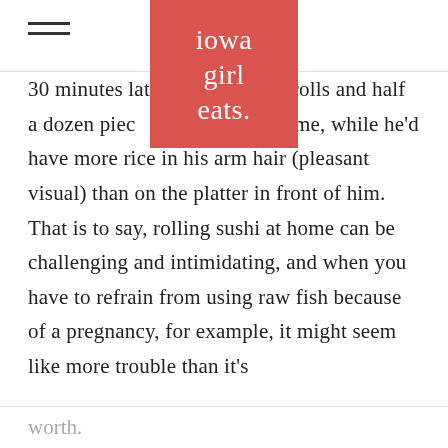iowa girl eats.
30 minutes later [iowa girl eats logo] eral rolls and half a dozen piec[...] in front of me, while he'd have more rice in his arm hair (pleasant visual) than on the platter in front of him. That is to say, rolling sushi at home can be challenging and intimidating, and when you have to refrain from using raw fish because of a pregnancy, for example, it might seem like more trouble than it's
worth.